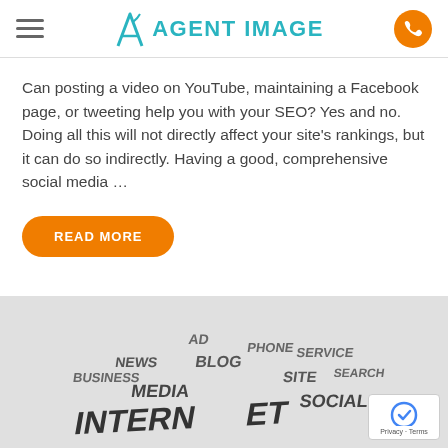Agent Image
Can posting a video on YouTube, maintaining a Facebook page, or tweeting help you with your SEO? Yes and no. Doing all this will not directly affect your site's rankings, but it can do so indirectly. Having a good, comprehensive social media …
[Figure (illustration): 3D word cloud featuring internet and social media related terms: INTERNET, NEWS, BLOG, MEDIA, SITE, PHONE, SOCIAL, SERVICE, SEARCH, AD, BUSINESS arranged as 3D letters on a flat surface]